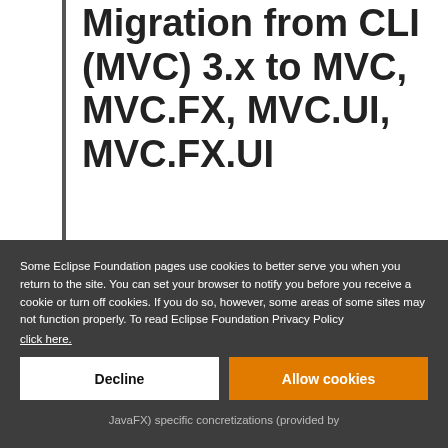Migration from CLI (MVC) 3.x to MVC, MVC.FX, MVC.UI, MVC.FX.UI
Some Eclipse Foundation pages use cookies to better serve you when you return to the site. You can set your browser to notify you before you receive a cookie or turn off cookies. If you do so, however, some areas of some sites may not function properly. To read Eclipse Foundation Privacy Policy click here.
JavaFX) specific concretizations (provided by